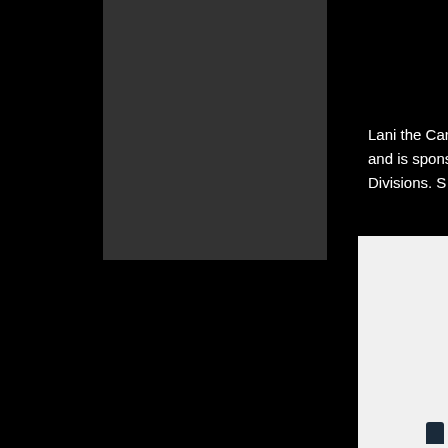[Figure (photo): Dark gray/charcoal colored rectangular block on black background, upper-left area of page]
Lani the Car and is spons Divisions. S
[Figure (photo): White/light gray rectangular image partially visible in lower-right area with a small dark figure at the bottom]